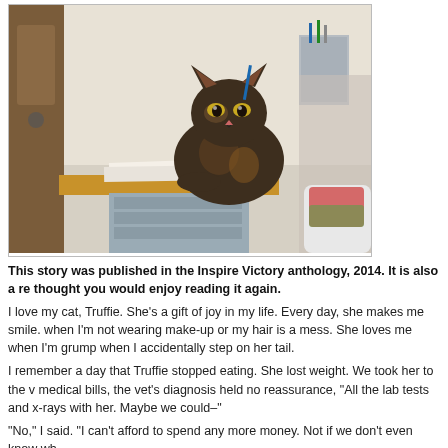[Figure (photo): A tortoiseshell cat sitting on a desk/table at what appears to be a veterinary office, with a pen behind its ear, sitting on papers, with medical filing cabinets and supplies visible in the background.]
This story was published in the Inspire Victory anthology, 2014. It is also a re thought you would enjoy reading it again.
I love my cat, Truffie. She's a gift of joy in my life. Every day, she makes me smile. when I'm not wearing make-up or my hair is a mess. She loves me when I'm grump when I accidentally step on her tail.
I remember a day that Truffie stopped eating. She lost weight. We took her to the v medical bills, the vet's diagnosis held no reassurance, "All the lab tests and x-rays with her. Maybe we could–"
"No," I said. "I can't afford to spend any more money. Not if we don't even know wh
Five days had passed since she became ill. If something didn't change soon, there forced eye droppers full or water down her throat every few hours. She still wouldn fever. None of the medicine the vet had prescribed seemed to help.